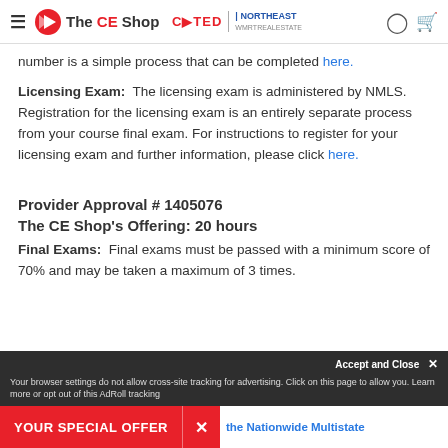The CE Shop | COTED | NORTHEAST
number is a simple process that can be completed here.
Licensing Exam: The licensing exam is administered by NMLS. Registration for the licensing exam is an entirely separate process from your course final exam. For instructions to register for your licensing exam and further information, please click here.
Provider Approval # 1405076
The CE Shop's Offering: 20 hours
Final Exams: Final exams must be passed with a minimum score of 70% and may be taken a maximum of 3 times.
Accept and Close ×
Your browser settings do not allow cross-site tracking for advertising. Click on this page to allow you. Learn more or opt out of this AdRoll tracking
YOUR SPECIAL OFFER × the Nationwide Multistate